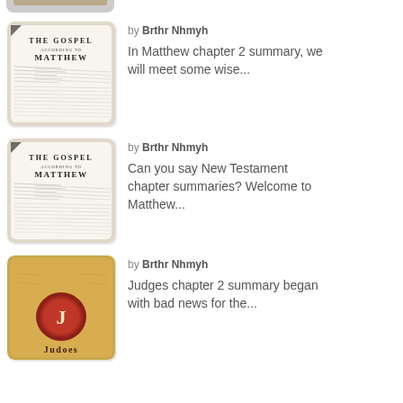[Figure (photo): Partial top of a book thumbnail, cut off at top of page]
[Figure (photo): Photo of open Bible page showing 'THE GOSPEL ACCORDING TO MATTHEW' text]
by Brthr Nhmyh
In Matthew chapter 2 summary, we will meet some wise...
[Figure (photo): Photo of open Bible page showing 'THE GOSPEL ACCORDING TO MATTHEW' text]
by Brthr Nhmyh
Can you say New Testament chapter summaries? Welcome to Matthew...
[Figure (photo): Book cover with letter J seal, Judges book cover]
by Brthr Nhmyh
Judges chapter 2 summary began with bad news for the...